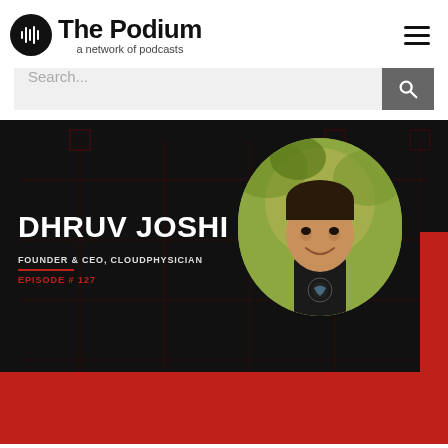[Figure (logo): The Podium - a network of podcasts logo with circular podcast icon and hamburger menu]
[Figure (screenshot): Search bar with magnifying glass button on grey background]
[Figure (photo): Podcast episode banner with dark background showing Dhruv Joshi, Founder & CEO CloudPhysician, Episode #127, with guest photo and The Podium branding]